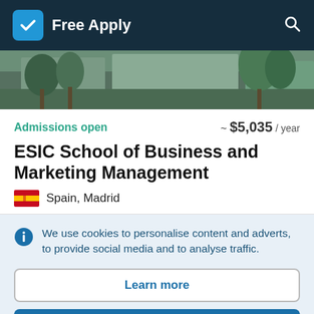Free Apply
[Figure (photo): Outdoor campus photo showing trees and building]
Admissions open
~ $5,035 / year
ESIC School of Business and Marketing Management
Spain, Madrid
We use cookies to personalise content and adverts, to provide social media and to analyse traffic.
Learn more
Accept